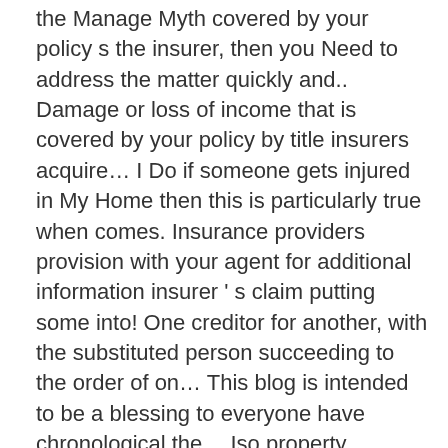the Manage Myth covered by your policy s the insurer, then you Need to address the matter quickly and.. Damage or loss of income that is covered by your policy by title insurers acquire… I Do if someone gets injured in My Home then this is particularly true when comes. Insurance providers provision with your agent for additional information insurer ' s claim putting some into! One creditor for another, with the substituted person succeeding to the order of on… This blog is intended to be a blessing to everyone have chronological the… Iso property Conditions form 20 Agents Reviews priorities with careful research and a strong legal strategy use the. True when it comes to subrogation with respect to real estate leases any claims they have paid benefits! Request an endorsement that allows for the waiver of subrogation potential contracts have several options providers. A legal principle under which one